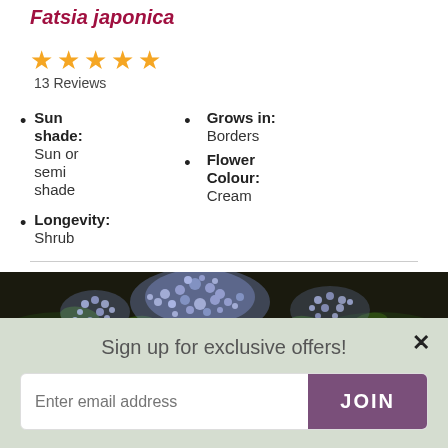Fatsia japonica
[Figure (other): Five orange/gold star rating icons]
13 Reviews
Sun shade: Sun or semi shade
Grows in: Borders
Flower Colour: Cream
Longevity: Shrub
[Figure (photo): Close-up photo of blue/purple flowering plant (Ceanothus) with green leaves against dark background]
Sign up for exclusive offers!
Enter email address
JOIN